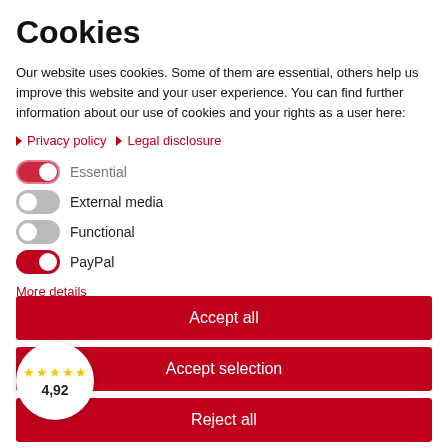Cookies
Our website uses cookies. Some of them are essential, others help us improve this website and your user experience. You can find further information about our use of cookies and your rights as a user here:
▶ Privacy policy  ▶ Legal disclosure
Essential (toggle on)
External media (toggle off)
Functional (toggle off)
PayPal (toggle on)
More details
Accept all
Accept selection
Reject all
[Figure (other): Rating badge showing 4,92 with 5 yellow stars]